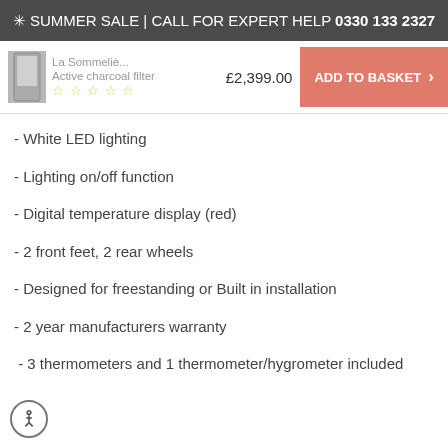✳ SUMMER SALE | CALL FOR EXPERT HELP 0330 133 2327
La Sommeliè... Active charcoal filter £2,399.00 [stars] ADD TO BASKET >
- White LED lighting
- Lighting on/off function
- Digital temperature display (red)
- 2 front feet, 2 rear wheels
- Designed for freestanding or Built in installation
- 2 year manufacturers warranty
- 3 thermometers and 1 thermometer/hygrometer included